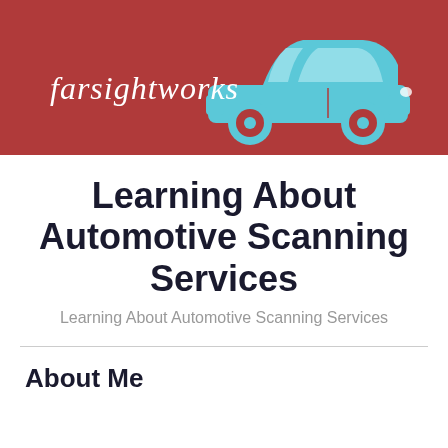[Figure (logo): Farsightworks logo with cursive white text and a light blue car illustration on a dark red background]
Learning About Automotive Scanning Services
Learning About Automotive Scanning Services
About Me